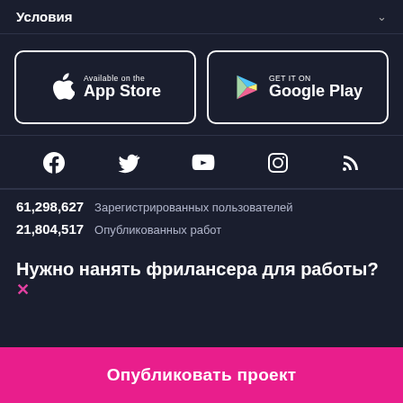Условия
[Figure (logo): App Store download button with Apple logo]
[Figure (logo): Google Play download button with Play logo]
[Figure (infographic): Row of social media icons: Facebook, Twitter, YouTube, Instagram, RSS]
61,298,627  Зарегистрированных пользователей
21,804,517  Опубликованных работ
Нужно нанять фрилансера для работы?
Опубликовать проект